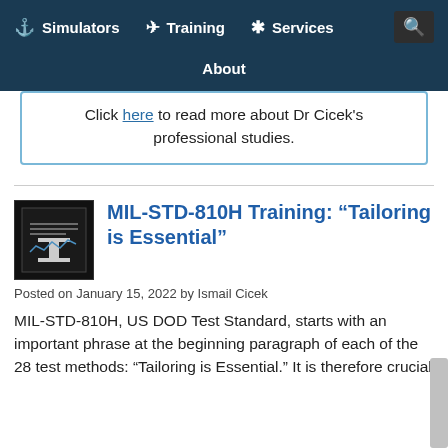Simulators | Training | Services | About
Click here to read more about Dr Cicek's professional studies.
MIL-STD-810H Training: “Tailoring is Essential”
Posted on January 15, 2022 by Ismail Cicek
MIL-STD-810H, US DOD Test Standard, starts with an important phrase at the beginning paragraph of each of the 28 test methods: “Tailoring is Essential.” It is therefore crucial